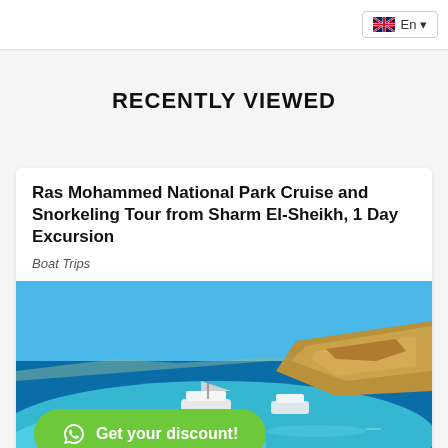En
RECENTLY VIEWED
Ras Mohammed National Park Cruise and Snorkeling Tour from Sharm El-Sheikh, 1 Day Excursion
Boat Trips
[Figure (photo): Aerial/scenic view of turquoise sea with boats near a rocky coastal peninsula under a blue sky. A green WhatsApp 'Get your discount!' button is overlaid at the bottom left.]